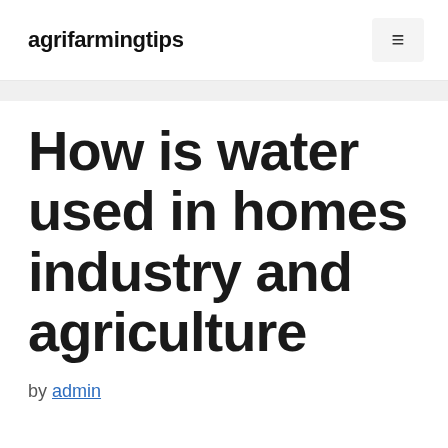agrifarmingtips
How is water used in homes industry and agriculture
by admin